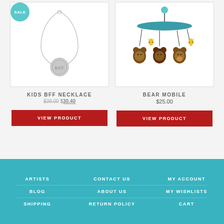[Figure (photo): Silver BFF necklace with round pendant on a chain, with a teal sale badge in the top-left corner]
[Figure (photo): Bear mobile toy with brown bears and bees hanging from a teal circular disc]
KIDS BFF NECKLACE
$38.00 $30.40
VIEW PRODUCT
BEAR MOBILE
$25.00
VIEW PRODUCT
ARTISTS   CONTACT US   MY ACCOUNT   BLOG   ABOUT US   MY WISHLISTS   SHIPPING   RETURN POLICY   CART